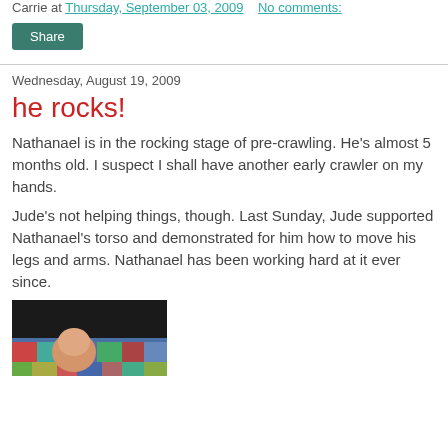Carrie at Thursday, September 03, 2009    No comments:
Share
Wednesday, August 19, 2009
he rocks!
Nathanael is in the rocking stage of pre-crawling. He's almost 5 months old. I suspect I shall have another early crawler on my hands.
Jude's not helping things, though. Last Sunday, Jude supported Nathanael's torso and demonstrated for him how to move his legs and arms. Nathanael has been working hard at it ever since.
[Figure (photo): Photo of a baby on a colorful quilt, partially visible at the bottom of the page]